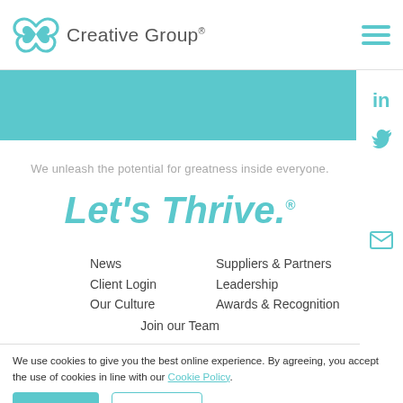Creative Group
[Figure (illustration): Teal knot/infinity-style logo icon for Creative Group]
[Figure (infographic): Teal banner strip across the page, with LinkedIn and Twitter social icons on the right sidebar]
We unleash the potential for greatness inside everyone.
Let's Thrive.®
News
Suppliers & Partners
Client Login
Leadership
Our Culture
Awards & Recognition
Join our Team
We use cookies to give you the best online experience. By agreeing, you accept the use of cookies in line with our Cookie Policy.